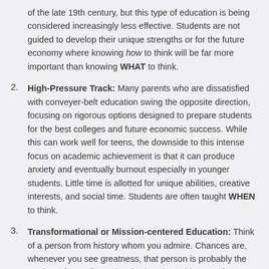of the late 19th century, but this type of education is being considered increasingly less effective. Students are not guided to develop their unique strengths or for the future economy where knowing how to think will be far more important than knowing WHAT to think.
High-Pressure Track: Many parents who are dissatisfied with conveyer-belt education swing the opposite direction, focusing on rigorous options designed to prepare students for the best colleges and future economic success. While this can work well for teens, the downside to this intense focus on academic achievement is that it can produce anxiety and eventually burnout especially in younger students. Little time is allotted for unique abilities, creative interests, and social time. Students are often taught WHEN to think.
Transformational or Mission-centered Education: Think of a person from history whom you admire. Chances are, whenever you see greatness, that person is probably the product of Transformational Education. This type of education fuels personal fulfillment in relationships and vocation